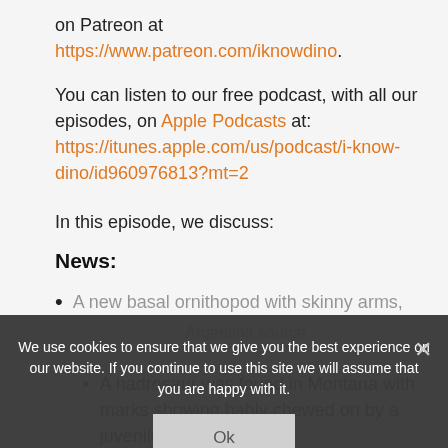on Patreon at https://www.patreon.com/iknowdino.
You can listen to our free podcast, with all our episodes, on Apple Podcasts at: https://itunes.apple.com/us/podcast/i-know-dino/id960976813?mt=2
In this episode, we discuss:
News:
A new basal ornithopod with skinny arms, Argentina source
A hadrosaur was found in Montana with marks showing it was probably chewed on by a juvenile T. rex source
We use cookies to ensure that we give you the best experience on our website. If you continue to use this site we will assume that you are happy with it.